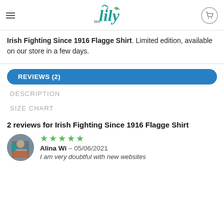Tee Lily - navigation header with logo
Irish Fighting Since 1916 Flagge Shirt. Limited edition, available on our store in a few days.
REVIEWS (2)
DESCRIPTION
SIZE CHART
2 reviews for Irish Fighting Since 1916 Flagge Shirt
Alina Wi – 05/06/2021
I am very doubtful with new websites